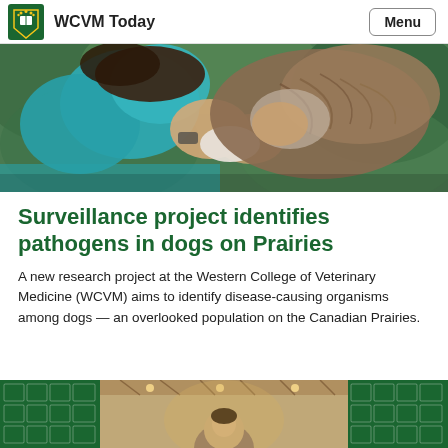WCVM Today
[Figure (photo): A person in a teal/turquoise top examining or handling a dog (appears to be a goat or long-haired animal), close-up photo taken outdoors.]
Surveillance project identifies pathogens in dogs on Prairies
A new research project at the Western College of Veterinary Medicine (WCVM) aims to identify disease-causing organisms among dogs — an overlooked population on the Canadian Prairies.
[Figure (photo): Partial view of a person indoors with warm lighting, green patterned background panels on either side.]